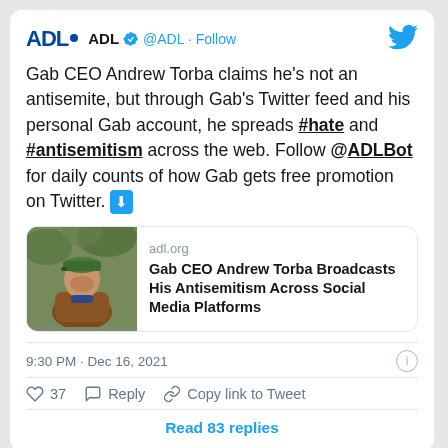[Figure (screenshot): ADL Twitter/X profile avatar logo — blue ADL text logo on white background]
ADL @ADL · Follow
[Figure (logo): Twitter bird logo in blue, top right corner]
Gab CEO Andrew Torba claims he’s not an antisemite, but through Gab’s Twitter feed and his personal Gab account, he spreads #hate and #antisemitism across the web. Follow @ADLBot for daily counts of how Gab gets free promotion on Twitter. ⬇️
[Figure (photo): Photo of Andrew Torba wearing a green cap and brown jacket, used as link card thumbnail]
adl.org
Gab CEO Andrew Torba Broadcasts His Antisemitism Across Social Media Platforms
9:30 PM · Dec 16, 2021
37  Reply  Copy link to Tweet
Read 83 replies